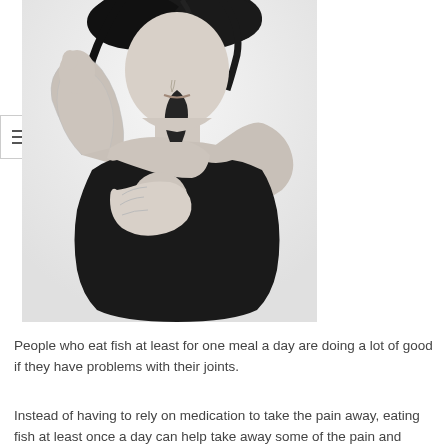[Figure (photo): Black and white photo of a woman holding her elbow in pain, with a red/pink highlight at the elbow joint indicating joint pain or inflammation. She is wearing a black tank top and has dark curly hair.]
People who eat fish at least for one meal a day are doing a lot of good if they have problems with their joints.
Instead of having to rely on medication to take the pain away, eating fish at least once a day can help take away some of the pain and